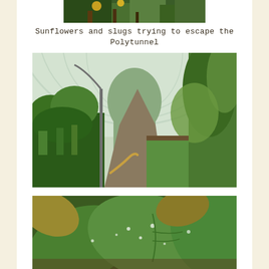[Figure (photo): Top portion of a photo showing sunflowers and plants near the top of a polytunnel, partially cropped]
Sunflowers and slugs trying to escape the Polytunnel
[Figure (photo): Interior view of a polytunnel greenhouse with lush green plants growing along both sides of a central path, with plastic sheeting forming the curved roof]
[Figure (photo): Close-up of large green leafy plants with water droplets, including what appears to be squash or courgette leaves]